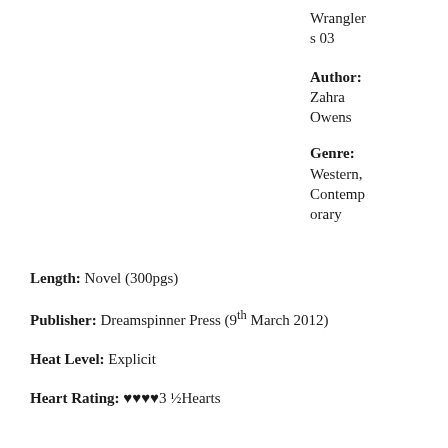Wranglers 03
Author: Zahra Owens
Genre: Western, Contemporary
Length: Novel (300pgs)
Publisher: Dreamspinner Press (9th March 2012)
Heat Level: Explicit
Heart Rating: ♥♥♥♥3 ½Hearts